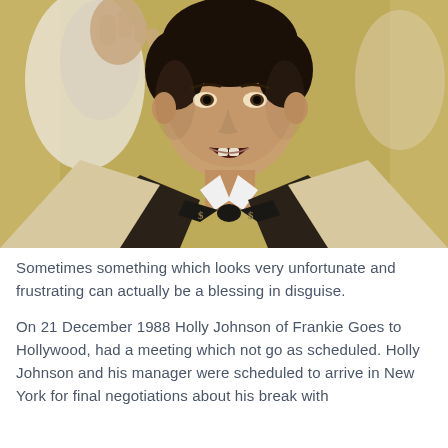[Figure (photo): A young man wearing a black bow tie with dollar sign symbols and a textured jacket, gesturing with his right hand raised, set against a golden-yellow background. This appears to be Holly Johnson of Frankie Goes to Hollywood.]
Sometimes something which looks very unfortunate and frustrating can actually be a blessing in disguise.
On 21 December 1988 Holly Johnson of Frankie Goes to Hollywood, had a meeting which not go as scheduled. Holly Johnson and his manager were scheduled to arrive in New York for final negotiations about his break with